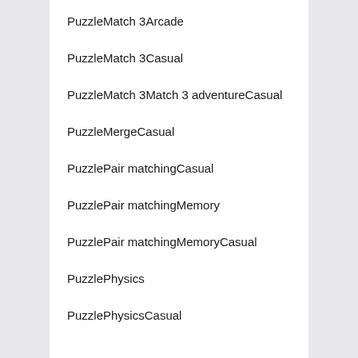PuzzleMatch 3Arcade
PuzzleMatch 3Casual
PuzzleMatch 3Match 3 adventureCasual
PuzzleMergeCasual
PuzzlePair matchingCasual
PuzzlePair matchingMemory
PuzzlePair matchingMemoryCasual
PuzzlePhysics
PuzzlePhysicsCasual